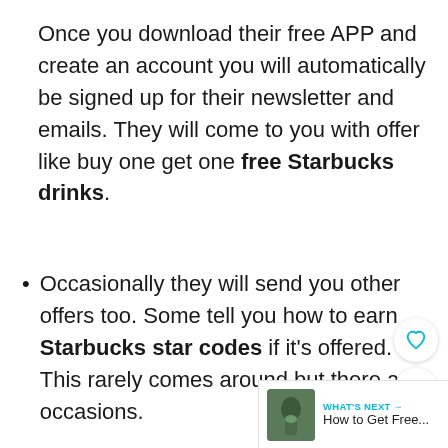Once you download their free APP and create an account you will automatically be signed up for their newsletter and emails. They will come to you with offer like buy one get one free Starbucks drinks.
Occasionally they will send you other offers too. Some tell you how to earn Starbucks star codes if it's offered. This rarely comes around but there are occasions.